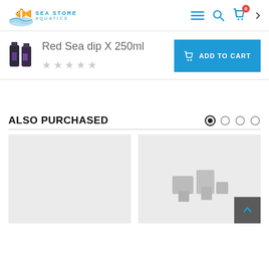Sea Store Aquatics
Red Sea dip X 250ml
ADD TO CART
ALSO PURCHASED
[Figure (photo): Two product image cards shown as gray placeholder boxes for 'Also Purchased' section]